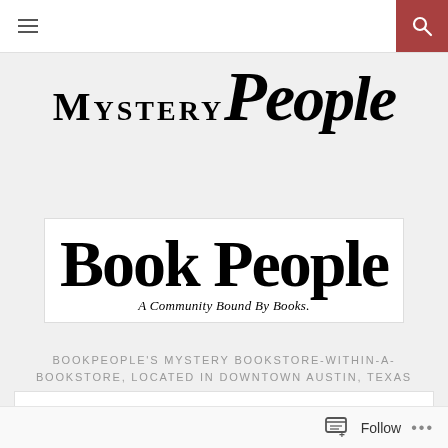[Figure (logo): MysteryPeople logo — large stylized serif text reading 'MysteryPeople' with a fingerprint graphic in the letter 'o' of People]
[Figure (logo): BookPeople logo — bold serif text reading 'BookPeople' with tagline 'A Community Bound By Books.' on white background]
BOOKPEOPLE'S MYSTERY BOOKSTORE-WITHIN-A-BOOKSTORE, LOCATED IN DOWNTOWN AUSTIN, TEXAS
EVENT / NOIR AT THE BAR